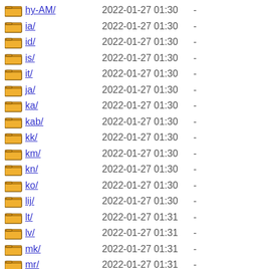hy-AM/  2022-01-27 01:30  -
ia/  2022-01-27 01:30  -
id/  2022-01-27 01:30  -
is/  2022-01-27 01:30  -
it/  2022-01-27 01:30  -
ja/  2022-01-27 01:30  -
ka/  2022-01-27 01:30  -
kab/  2022-01-27 01:30  -
kk/  2022-01-27 01:30  -
km/  2022-01-27 01:30  -
kn/  2022-01-27 01:30  -
ko/  2022-01-27 01:30  -
lij/  2022-01-27 01:30  -
lt/  2022-01-27 01:31  -
lv/  2022-01-27 01:31  -
mk/  2022-01-27 01:31  -
mr/  2022-01-27 01:31  -